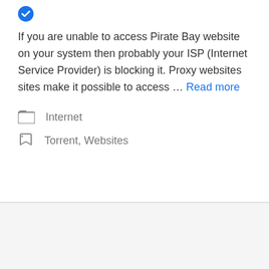[Figure (illustration): Blue circle with white checkmark icon]
If you are unable to access Pirate Bay website on your system then probably your ISP (Internet Service Provider) is blocking it. Proxy websites sites make it possible to access … Read more
Internet
Torrent, Websites